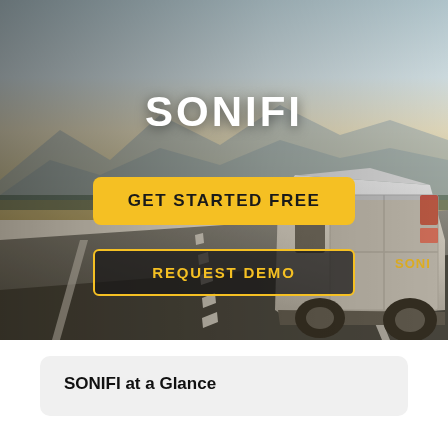[Figure (photo): Hero image of a white delivery van driving on a highway with mountains in the background at dusk/dawn. SONIFI branding visible on the van. Overlay buttons for 'GET STARTED FREE' and 'REQUEST DEMO'. Large 'SONIFI' title text in white.]
SONIFI
GET STARTED FREE
REQUEST DEMO
SONIFI at a Glance